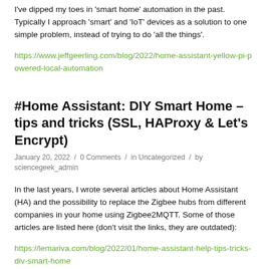I've dipped my toes in 'smart home' automation in the past. Typically I approach 'smart' and 'IoT' devices as a solution to one simple problem, instead of trying to do 'all the things'.
https://www.jeffgeerling.com/blog/2022/home-assistant-yellow-pi-powered-local-automation
#Home Assistant: DIY Smart Home – tips and tricks (SSL, HAProxy & Let's Encrypt)
January 20, 2022  /  0 Comments  /  in Uncategorized  /  by sciencegeek_admin
In the last years, I wrote several articles about Home Assistant (HA) and the possibility to replace the Zigbee hubs from different companies in your home using Zigbee2MQTT. Some of those articles are listed here (don't visit the links, they are outdated):
https://lemariva.com/blog/2022/01/home-assistant-help-tips-tricks-div-smart-home